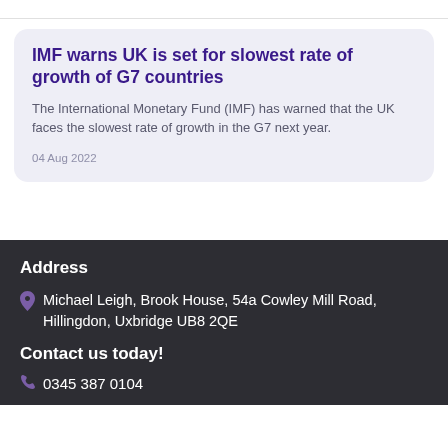IMF warns UK is set for slowest rate of growth of G7 countries
The International Monetary Fund (IMF) has warned that the UK faces the slowest rate of growth in the G7 next year.
04 Aug 2022
Address
Michael Leigh, Brook House, 54a Cowley Mill Road, Hillingdon, Uxbridge UB8 2QE
Contact us today!
0345 387 0104